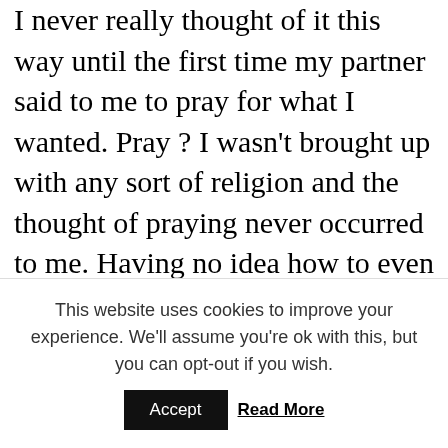I never really thought of it this way until the first time my partner said to me to pray for what I wanted. Pray ? I wasn't brought up with any sort of religion and the thought of praying never occurred to me. Having no idea how to even formulate a prayer got me intrigued though.

I realized that this had nothing to do with being religious or not. If I didn't even know how to express what I wanted and ask for it, I figured it I couldn't really expect others or even the
This website uses cookies to improve your experience. We'll assume you're ok with this, but you can opt-out if you wish.
Accept    Read More